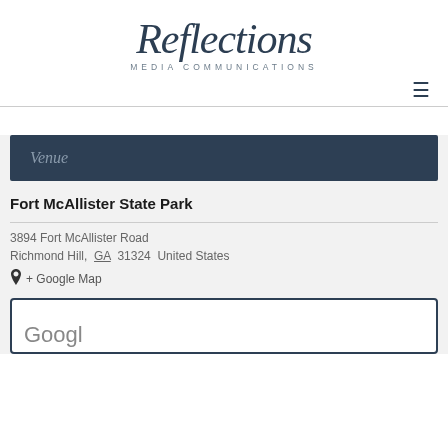[Figure (logo): Reflections Media Communications logo — 'Reflections' in large serif font with 'MEDIA COMMUNICATIONS' in small spaced uppercase below]
≡
Venue
Fort McAllister State Park
3894 Fort McAllister Road
Richmond Hill,  GA  31324  United States
+ Google Map
[Figure (screenshot): Partial Google Map embed showing bottom edge with 'Googl' text visible]